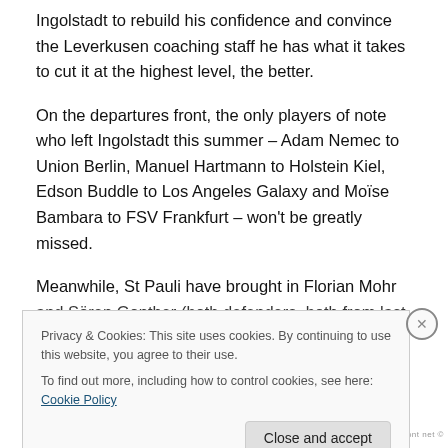Ingolstadt to rebuild his confidence and convince the Leverkusen coaching staff he has what it takes to cut it at the highest level, the better.
On the departures front, the only players of note who left Ingolstadt this summer – Adam Nemec to Union Berlin, Manuel Hartmann to Holstein Kiel, Edson Buddle to Los Angeles Galaxy and Moïse Bambara to FSV Frankfurt – won't be greatly missed.
Meanwhile, St Pauli have brought in Florian Mohr and Sören Gonther (both defenders, both from last
Privacy & Cookies: This site uses cookies. By continuing to use this website, you agree to their use.
To find out more, including how to control cookies, see here: Cookie Policy
Close and accept
nifmont net ©